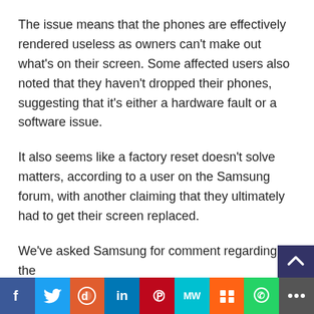The issue means that the phones are effectively rendered useless as owners can't make out what's on their screen. Some affected users also noted that they haven't dropped their phones, suggesting that it's either a hardware fault or a software issue.
It also seems like a factory reset doesn't solve matters, according to a user on the Samsung forum, with another claiming that they ultimately had to get their screen replaced.
We've asked Samsung for comment regarding the issue and will update the article if/when the fi...